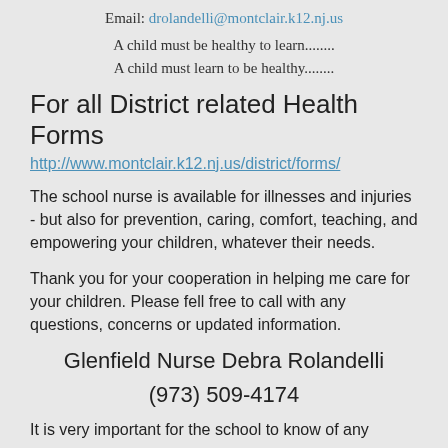Email: drolandelli@montclair.k12.nj.us
A child must be healthy to learn........
A child must learn to be healthy........
For all District related Health Forms
http://www.montclair.k12.nj.us/district/forms/
The school nurse is available for illnesses and injuries - but also for prevention, caring, comfort, teaching, and empowering your children, whatever their needs.
Thank you for your cooperation in helping me care for your children. Please fell free to call with any questions, concerns or updated information.
Glenfield Nurse Debra Rolandelli
(973) 509-4174
It is very important for the school to know of any